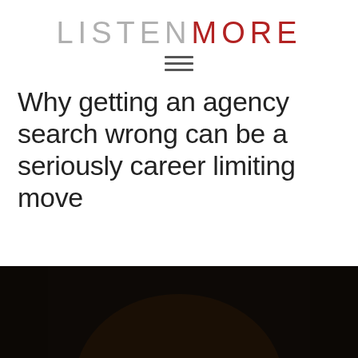LISTENMORE
Why getting an agency search wrong can be a seriously career limiting move
[Figure (photo): Dark background photo with a light-colored rounded object (possibly a head or ball) visible at the bottom, cropped at page edge]